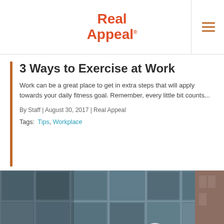Real Appeal
3 Ways to Exercise at Work
Work can be a great place to get in extra steps that will apply towards your daily fitness goal. Remember, every little bit counts...
By Staff | August 30, 2017 | Real Appeal
Tags: Tips, Workplace
[Figure (photo): A man in a business suit wearing a bicycle helmet, riding a bicycle in front of a large glass office building facade.]